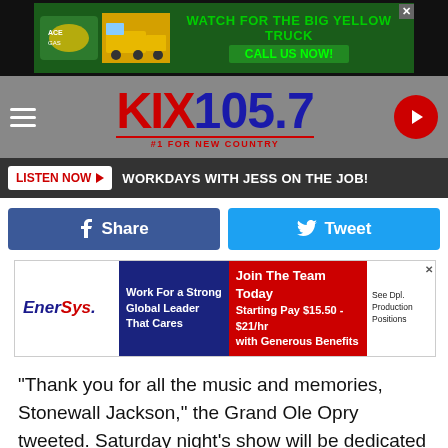[Figure (screenshot): Top advertisement banner: yellow truck ad with text 'WATCH FOR THE BIG YELLOW TRUCK' and 'CALL US NOW!']
[Figure (logo): KIX 105.7 radio station navigation bar with hamburger menu, KIX 105.7 logo (#1 FOR NEW COUNTRY), and red play button]
[Figure (screenshot): Listen Now button bar with text 'WORKDAYS WITH JESS ON THE JOB!']
[Figure (screenshot): Social sharing bar with Facebook Share button and Twitter Tweet button]
[Figure (screenshot): EnerSys advertisement banner: Work For a Strong Global Leader That Cares, Join The Team Today, Starting Pay $15.50 - $21/hr with Generous Benefits, See Opl. Production Positions]
"Thank you for all the music and memories, Stonewall Jackson," the Grand Ole Opry tweeted. Saturday night's show will be dedicated to him.
[Figure (screenshot): EnerSys advertisement banner (bottom repeat): Work For a Strong Global Leader That Cares, Join The Team Today, Starting Pay $15.50 - $21/hr with Generous Benefits, See Opl. Production Positions]